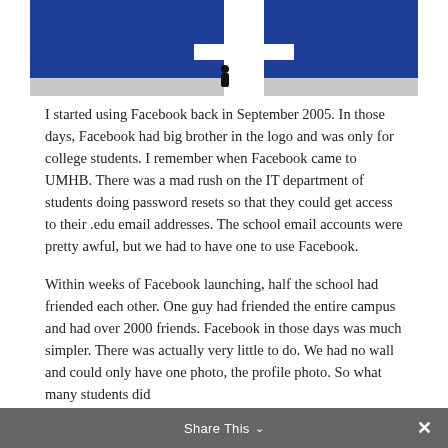[Figure (photo): A person standing small in front of a large white Facebook 'f' logo shape set against a deep blue background, with a grey floor.]
I started using Facebook back in September 2005. In those days, Facebook had big brother in the logo and was only for college students. I remember when Facebook came to UMHB. There was a mad rush on the IT department of students doing password resets so that they could get access to their .edu email addresses. The school email accounts were pretty awful, but we had to have one to use Facebook.
Within weeks of Facebook launching, half the school had friended each other. One guy had friended the entire campus and had over 2000 friends. Facebook in those days was much simpler. There was actually very little to do. We had no wall and could only have one photo, the profile photo. So what many students did
Share This ∨  ✕